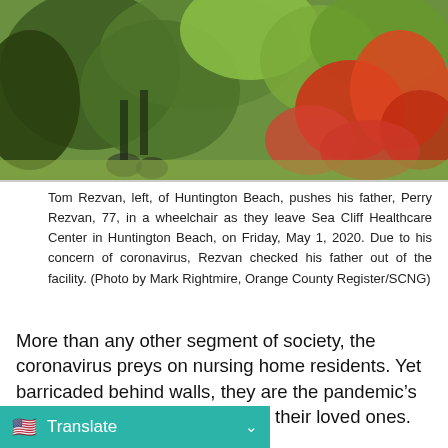[Figure (photo): Outdoor photo of Tom Rezvan pushing his father Perry Rezvan in a wheelchair, surrounded by garden flowers and greenery.]
Tom Rezvan, left, of Huntington Beach, pushes his father, Perry Rezvan, 77, in a wheelchair as they leave Sea Cliff Healthcare Center in Huntington Beach, on Friday, May 1, 2020. Due to his concern of coronavirus, Rezvan checked his father out of the facility. (Photo by Mark Rightmire, Orange County Register/SCNG)
More than any other segment of society, the coronavirus preys on nursing home residents. Yet barricaded behind walls, they are the pandemic’s most invisible victims – even to their loved ones.
In an often futile mission to keep the virus at bay, long-term care facilities throughout the country have months, many occupants’ only as been through a window or